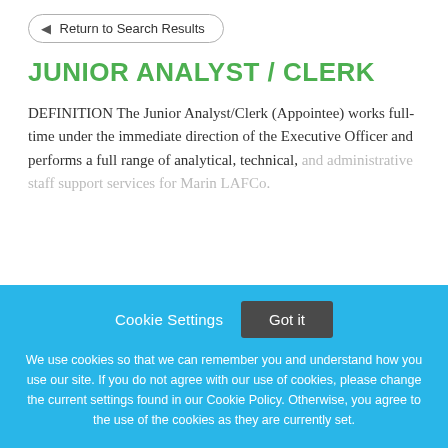Return to Search Results
JUNIOR ANALYST / CLERK
DEFINITION The Junior Analyst/Clerk (Appointee) works full-time under the immediate direction of the Executive Officer and performs a full range of analytical, technical, and administrative staff support services for Marin LAFCo.
Cookie Settings   Got it
We use cookies so that we can remember you and understand how you use our site. If you do not agree with our use of cookies, please change the current settings found in our Cookie Policy. Otherwise, you agree to the use of the cookies as they are currently set.